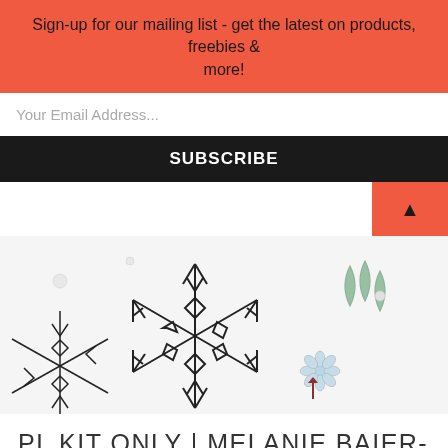Sign-up for our mailing list - get the latest on products, freebies & more!
Your Email Address...
SUBSCRIBE
[Figure (photo): Close-up photo of paper cut snowflakes with black outlines on a white background, with some blue floral paper cut elements visible]
PL KIT ONLY | MELANIE BAIER-GOESSL | DECEMBER 2021 HIP KITS